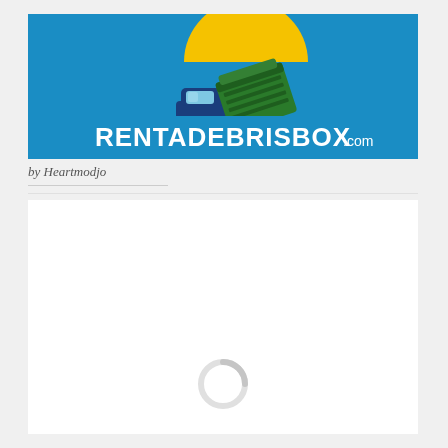[Figure (logo): RentADebrisBox.com logo: blue banner background with a dump truck illustration and yellow sun circle. White bold text reads RENTADEBRISBOX.com]
by Heartmodjo
[Figure (other): Loading spinner / throbber icon centered in white content area]